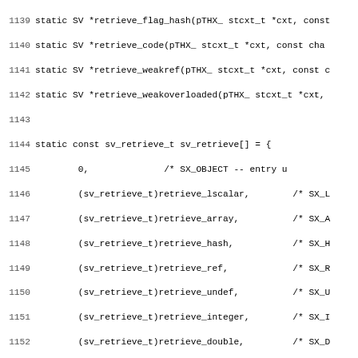[Figure (screenshot): Source code listing in monospace font showing C code lines 1139-1170, containing static function declarations and an array initialization of sv_retrieve_t with function pointer entries and comments]